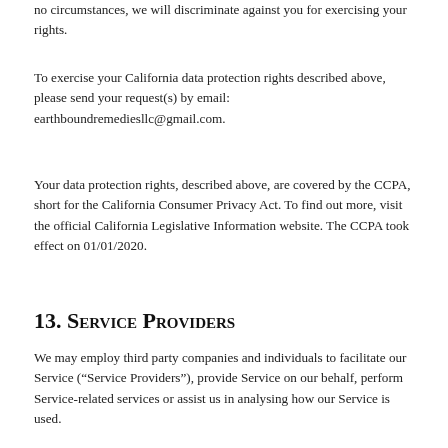no circumstances, we will discriminate against you for exercising your rights.
To exercise your California data protection rights described above, please send your request(s) by email: earthboundremediesllc@gmail.com.
Your data protection rights, described above, are covered by the CCPA, short for the California Consumer Privacy Act. To find out more, visit the official California Legislative Information website. The CCPA took effect on 01/01/2020.
13. Service Providers
We may employ third party companies and individuals to facilitate our Service (“Service Providers”), provide Service on our behalf, perform Service-related services or assist us in analysing how our Service is used.